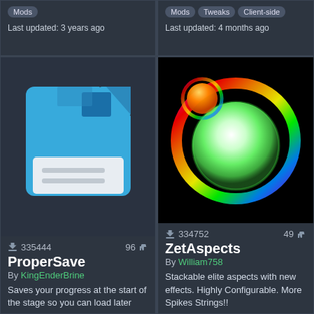Mods | Last updated: 3 years ago
Mods | Tweaks | Client-side | Last updated: 4 months ago
[Figure (illustration): Floppy disk icon in blue and white, representing the ProperSave mod]
335444 downloads, 96 likes
ProperSave
By KingEnderBrine
Saves your progress at the start of the stage so you can load later
[Figure (illustration): Colorful rainbow glowing orb/sphere on black background, representing the ZetAspects mod]
334752 downloads, 49 likes
ZetAspects
By William758
Stackable elite aspects with new effects. Highly Configurable. More Spikes Strings!!